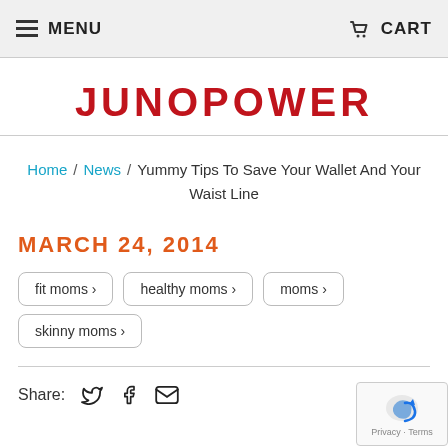MENU  CART
[Figure (logo): JUNOPOWER logo in bold red uppercase letters]
Home / News / Yummy Tips To Save Your Wallet And Your Waist Line
MARCH 24, 2014
fit moms ›
healthy moms ›
moms ›
skinny moms ›
Share: